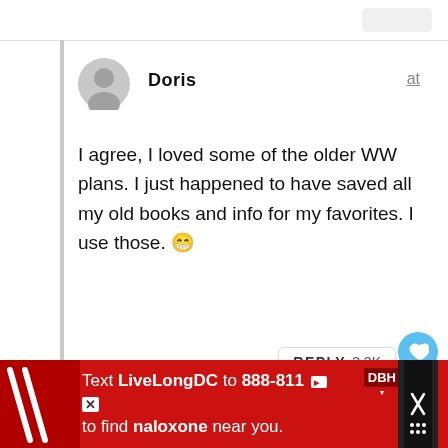[Figure (screenshot): Top navigation bar with a rounded rectangle button on the right]
Doris
at
I agree, I loved some of the older WW plans. I just happened to have saved all my old books and info for my favorites. I use those. 😁
[Figure (infographic): Heart/like button (blue circle with heart icon), REPLY button with 3.3K count, share button (blue circle with share icon)]
[Figure (infographic): Red advertisement banner: Text LiveLongDC to 888-811 to find naloxone near you. DBH logo and X close button on right.]